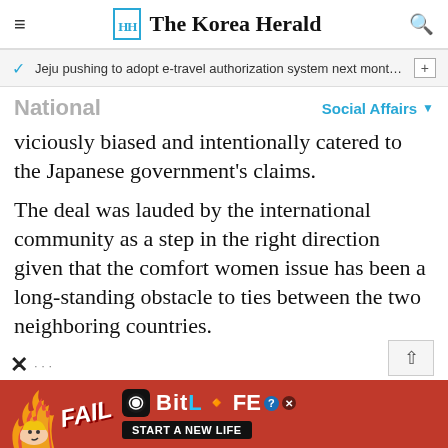The Korea Herald
Jeju pushing to adopt e-travel authorization system next month f…
National
Social Affairs
viciously biased and intentionally catered to the Japanese government's claims.
The deal was lauded by the international community as a step in the right direction given that the comfort women issue has been a long-standing obstacle to ties between the two neighboring countries.
[Figure (infographic): BitLife mobile game advertisement banner with 'FAIL' text, cartoon character, flames, and 'START A NEW LIFE' tagline on red background]